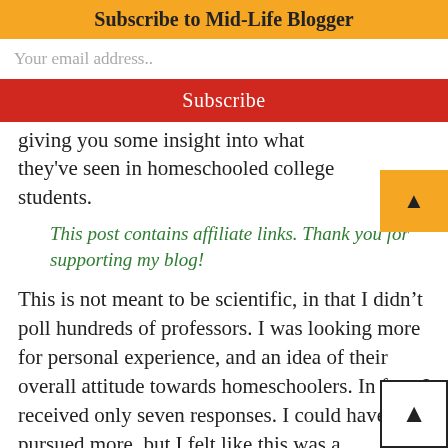Subscribe to Mid-Life Blogger
giving you some insight into what they've seen in homeschooled college students.
This post contains affiliate links. Thank you for supporting my blog!
This is not meant to be scientific, in that I didn't poll hundreds of professors. I was looking more for personal experience, and an idea of their overall attitude towards homeschoolers. In fact, I received only seven responses. I could have pursued more, but I felt like this was a good sampling, and that by being a small number I could p